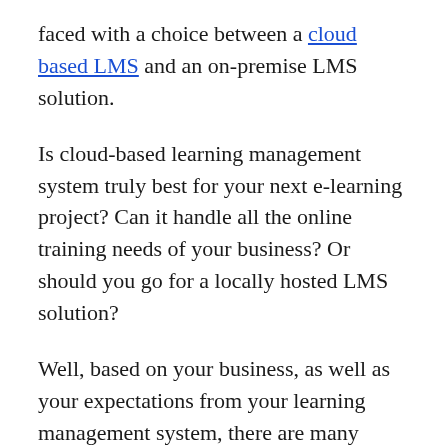faced with a choice between a cloud based LMS and an on-premise LMS solution.
Is cloud-based learning management system truly best for your next e-learning project? Can it handle all the online training needs of your business? Or should you go for a locally hosted LMS solution?
Well, based on your business, as well as your expectations from your learning management system, there are many considerations that could possibly sway your decision. Further, in this post, we are going to explain what a cloud-based learning management system is and the interesting benefits of choosing a cloud-based